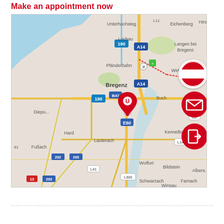Make an appointment now
[Figure (map): Google Maps view centered on Bregenz, Austria, showing surrounding areas including Lochau, Pfänderbahn, Hard, Lauterach, Wolfurt, Kennelbach, Bildstein, Schwarzach, Farnach, Winsau, with road labels (A14, 190, E60, L41, L41, L300, etc.) and a red location marker with a stylized 'U' logo near the center of Bregenz. Three circular buttons overlay the right side: Austrian flag, email icon, and a door/enter icon.]